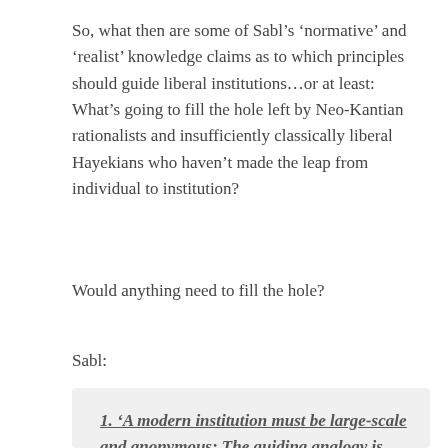So, what then are some of Sabl’s ‘normative’ and ‘realist’ knowledge claims as to which principles should guide liberal institutions…or at least: What’s going to fill the hole left by Neo-Kantian rationalists and insufficiently classically liberal Hayekians who haven’t made the leap from individual to institution?
Would anything need to fill the hole?
Sabl:
1. ‘A modern institution must be large-scale and anonymous; The guiding analogy is technological progress in response to experienced flaws and demonstrably useful innovations, not